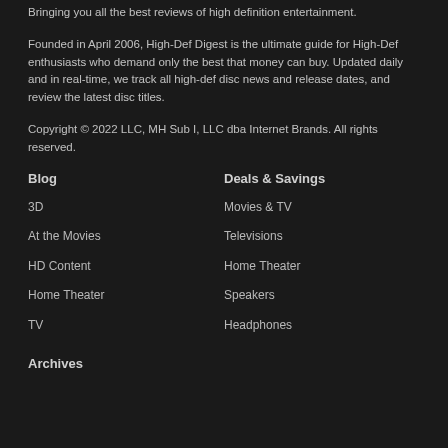Bringing you all the best reviews of high definition entertainment.
Founded in April 2006, High-Def Digest is the ultimate guide for High-Def enthusiasts who demand only the best that money can buy. Updated daily and in real-time, we track all high-def disc news and release dates, and review the latest disc titles.
Copyright © 2022 LLC, MH Sub I, LLC dba Internet Brands. All rights reserved.
Blog
Deals & Savings
3D
Movies & TV
At the Movies
Televisions
HD Content
Home Theater
Home Theater
Speakers
TV
Headphones
Archives